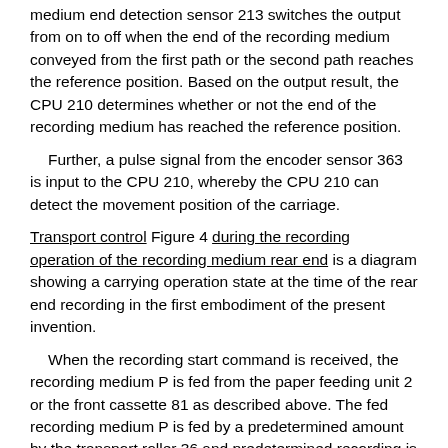medium end detection sensor 213 switches the output from on to off when the end of the recording medium conveyed from the first path or the second path reaches the reference position. Based on the output result, the CPU 210 determines whether or not the end of the recording medium has reached the reference position.
Further, a pulse signal from the encoder sensor 363 is input to the CPU 210, whereby the CPU 210 can detect the movement position of the carriage.
Transport control Figure 4 during the recording operation of the recording medium rear end is a diagram showing a carrying operation state at the time of the rear end recording in the first embodiment of the present invention.
When the recording start command is received, the recording medium P is fed from the paper feeding unit 2 or the front cassette 81 as described above. The fed recording medium P is fed by a predetermined amount by the transport roller 36 and predetermined recording is performed by the recording head 7 mounted on the carriage 50. When full-surface printing (marginless